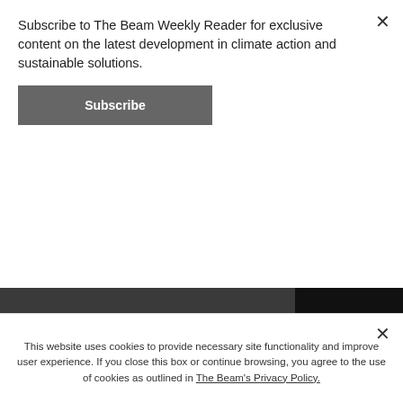Subscribe to The Beam Weekly Reader for exclusive content on the latest development in climate action and sustainable solutions.
Subscribe
create product design methods and take materials, while 'Biomimicry' incorporates design features and processes observed in nature. 'Industrial Ecology' and 'Blue Economy' talk about the use and reuse of materials, and their system limits. The 'performance economy' school represents circular economy from the ownership
0
This website uses cookies to provide necessary site functionality and improve user experience. If you close this box or continue browsing, you agree to the use of cookies as outlined in The Beam's Privacy Policy.